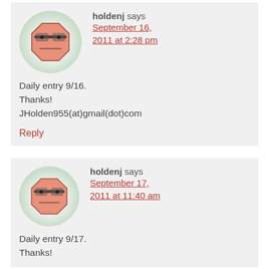holdenj says September 16, 2011 at 2:28 pm
Daily entry 9/16. Thanks! JHolden955(at)gmail(dot)com
Reply
holdenj says September 17, 2011 at 11:40 am
Daily entry 9/17. Thanks!